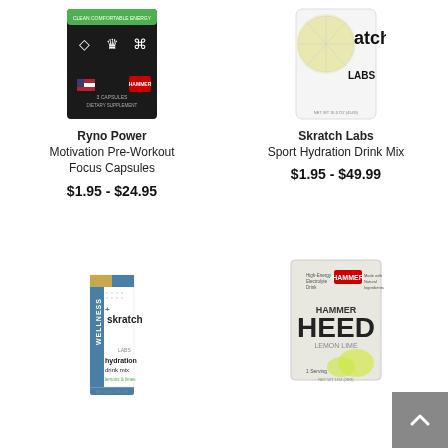[Figure (photo): Ryno Power Motivation Pre-Workout Focus Capsules product package - black packaging with icons and US flag]
Ryno Power
Motivation Pre-Workout
Focus Capsules
$1.95 - $24.95
[Figure (photo): Skratch Labs Sport Hydration Drink Mix - white container with lemon/lime imagery]
Skratch Labs
Sport Hydration Drink Mix
$1.95 - $49.99
[Figure (photo): Skratch Labs hydration drink mix stick packet - blue/gold/white with wellness label]
[Figure (photo): Hammer HEED Lemon Lime electrolyte drink single serving packet]